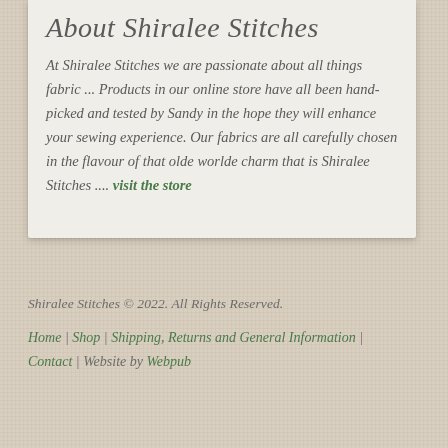About Shiralee Stitches
At Shiralee Stitches we are passionate about all things fabric ... Products in our online store have all been hand-picked and tested by Sandy in the hope they will enhance your sewing experience. Our fabrics are all carefully chosen in the flavour of that olde worlde charm that is Shiralee Stitches .... visit the store
Shiralee Stitches © 2022. All Rights Reserved.
Home | Shop | Shipping, Returns and General Information | Contact | Website by Webpub